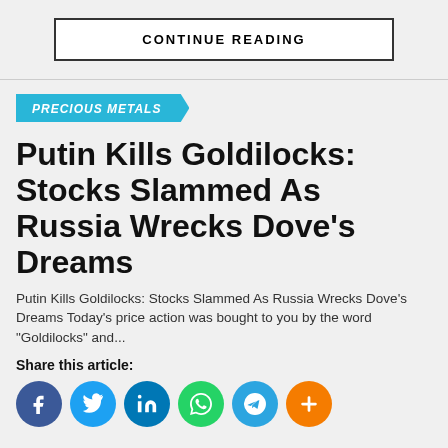CONTINUE READING
PRECIOUS METALS
Putin Kills Goldilocks: Stocks Slammed As Russia Wrecks Dove’s Dreams
Putin Kills Goldilocks: Stocks Slammed As Russia Wrecks Dove’s Dreams Today’s price action was bought to you by the word "Goldilocks" and...
Share this article: